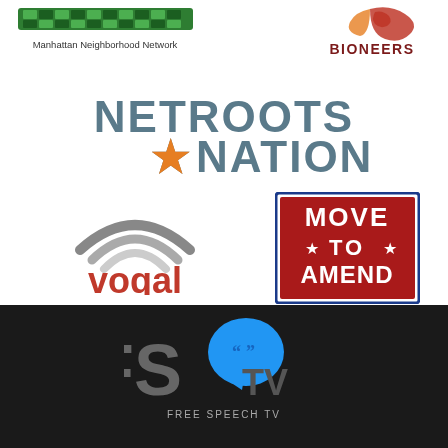[Figure (logo): Manhattan Neighborhood Network logo - green checkered bar with text below]
[Figure (logo): Bioneers logo - red/orange swoosh graphic with BIONEERS text in dark red]
[Figure (logo): Netroots Nation logo - gray uppercase text with orange star]
[Figure (logo): Voqal logo - gray wifi-like arcs above red voqal text]
[Figure (logo): Move to Amend logo - red square with white text and stars, blue border]
[Figure (logo): Free Speech TV (FSTV) logo - gray FS letters with blue speech bubble TV, white FREE SPEECH TV text below, on dark background]